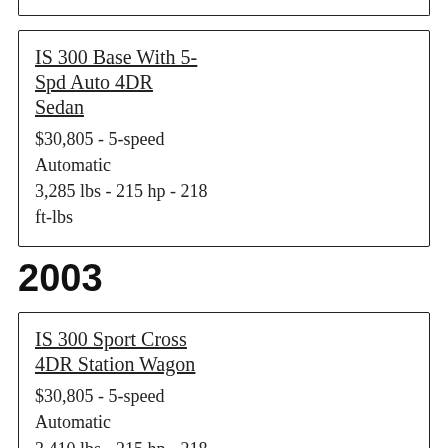IS 300 Base With 5-Spd Auto 4DR Sedan
$30,805 - 5-speed Automatic
3,285 lbs - 215 hp - 218 ft-lbs
2003
IS 300 Sport Cross 4DR Station Wagon
$30,805 - 5-speed Automatic
3,410 lbs - 215 hp - 218 ft-lbs